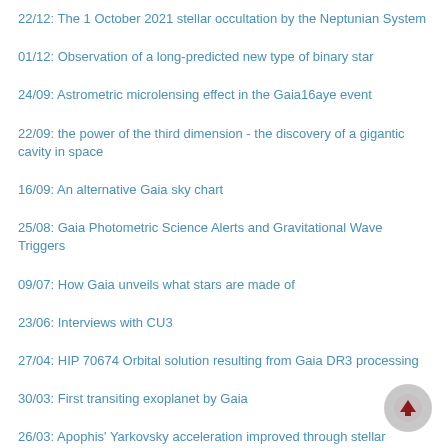22/12: The 1 October 2021 stellar occultation by the Neptunian system
01/12: Observation of a long-predicted new type of binary star
24/09: Astrometric microlensing effect in the Gaia16aye event
22/09: the power of the third dimension - the discovery of a gigantic cavity in space
16/09: An alternative Gaia sky chart
25/08: Gaia Photometric Science Alerts and Gravitational Wave Triggers
09/07: How Gaia unveils what stars are made of
23/06: Interviews with CU3
27/04: HIP 70674 Orbital solution resulting from Gaia DR3 processing
30/03: First transiting exoplanet by Gaia
26/03: Apophis' Yarkovsky acceleration improved through stellar occultation
26/02: Matching observations to sources for Gaia DR4
2020
22/12: QSO emission lines in low-resolution BP/RP spectra
03/12: Gaia Early Data Release 3
Following the journey of stars across the sky
Gaia DPAC
The Galactic anticentre
CU5 - a human story
The evolution of the galaxy with respect to the distance...